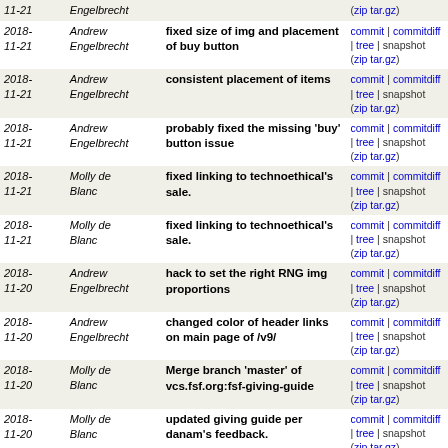| Date | Author | Commit Message | Links |
| --- | --- | --- | --- |
| 2018-11-21 | Engelbrecht |  | zip tar.gz |
| 2018-11-21 | Andrew Engelbrecht | fixed size of img and placement of buy button | commit | commitdiff | tree | snapshot (zip tar.gz) |
| 2018-11-21 | Andrew Engelbrecht | consistent placement of items | commit | commitdiff | tree | snapshot (zip tar.gz) |
| 2018-11-21 | Andrew Engelbrecht | probably fixed the missing 'buy' button issue | commit | commitdiff | tree | snapshot (zip tar.gz) |
| 2018-11-21 | Molly de Blanc | fixed linking to technoethical's sale. | commit | commitdiff | tree | snapshot (zip tar.gz) |
| 2018-11-21 | Molly de Blanc | fixed linking to technoethical's sale. | commit | commitdiff | tree | snapshot (zip tar.gz) |
| 2018-11-20 | Andrew Engelbrecht | hack to set the right RNG img proportions | commit | commitdiff | tree | snapshot (zip tar.gz) |
| 2018-11-20 | Andrew Engelbrecht | changed color of header links on main page of /v9/ | commit | commitdiff | tree | snapshot (zip tar.gz) |
| 2018-11-20 | Molly de Blanc | Merge branch 'master' of vcs.fsf.org:fsf-giving-guide | commit | commitdiff | tree | snapshot (zip tar.gz) |
| 2018-11-20 | Molly de Blanc | updated giving guide per danam's feedback. | commit | commitdiff | tree | snapshot (zip tar.gz) |
| 2018-11-20 | Andrew Engelbrecht | added javascript license for inline javascript | commit | commitdiff | tree | snapshot (zip tar.gz) |
| 2018-11-20 | Andrew Engelbrecht | fixed color of links in the intro text | commit | commitdiff | tree | snapshot (zip tar.gz) |
| 2018-11-20 | Molly de Blanc | Merge branch 'master' of vcs.fsf.org:fsf-giving-guide | commit | commitdiff | tree | snapshot (zip tar.gz) |
| 2018-11-20 | Molly de Blanc | updated per john h suggestions. | commit | commitdiff | tree | snapshot (zip tar.gz) |